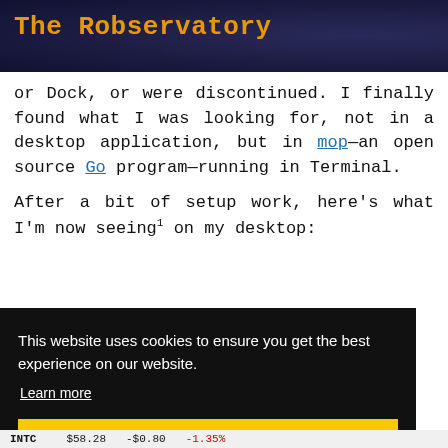The Robservatory
or Dock, or were discontinued. I finally found what I was looking for, not in a desktop application, but in mop—an open source Go program—running in Terminal.
After a bit of setup work, here's what I'm now seeing¹ on my desktop:
This website uses cookies to ensure you get the best experience on our website.
Learn more
Got it!
INTC   $58.28   -$0.80   -1.35%